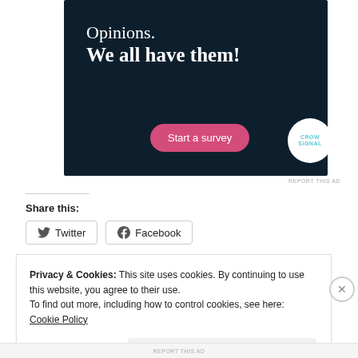[Figure (illustration): Dark navy advertisement banner for Crowdsignal with text 'Opinions. We all have them!' and a pink 'Start a survey' button and Crowdsignal circular logo]
REPORT THIS AD
Share this:
Twitter  Facebook
Privacy & Cookies: This site uses cookies. By continuing to use this website, you agree to their use.
To find out more, including how to control cookies, see here: Cookie Policy
Close and accept